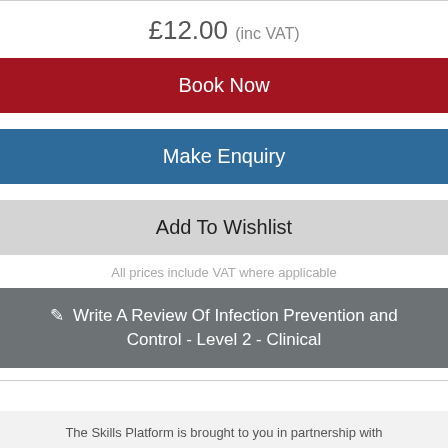£12.00 (inc VAT)
Book Now
Make Enquiry
Add To Wishlist
All prices include VAT where applicable
✎ Write A Review Of Infection Prevention and Control - Level 2 - Clinical
The Skills Platform is brought to you in partnership with